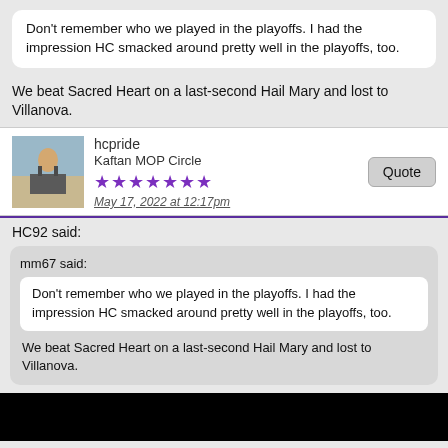Don't remember who we played in the playoffs. I had the impression HC smacked around pretty well in the playoffs, too.
We beat Sacred Heart on a last-second Hail Mary and lost to Villanova.
hcpride
Kaftan MOP Circle
★★★★★★★
May 17, 2022 at 12:17pm
HC92 said:
mm67 said:
Don't remember who we played in the playoffs. I had the impression HC smacked around pretty well in the playoffs, too.
We beat Sacred Heart on a last-second Hail Mary and lost to Villanova.